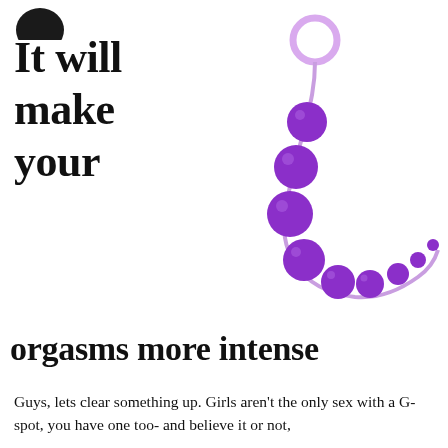[Figure (logo): Partial dark circular logo or icon at top left corner]
It will make your
[Figure (photo): Purple anal beads toy with a ring at the top, curving in a J/arc shape against white background]
orgasms more intense
Guys, lets clear something up. Girls aren't the only sex with a G-spot, you have one too- and believe it or not,